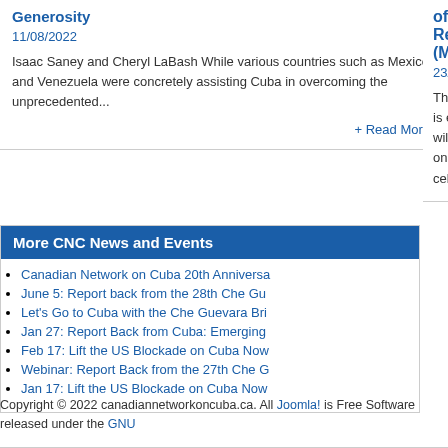Generosity
11/08/2022
Isaac Saney and Cheryl LaBash While various countries such as Mexico and Venezuela were concretely assisting Cuba in overcoming the unprecedented...
+ Read More
of Cuba's N Rebellion D (Moncada D
23/07/2022
The Canadian N is excited to ann will be hosting a on July 26th at 8 celebrate the 69t
More CNC News and Events
Canadian Network on Cuba 20th Anniversa
June 5: Report back from the 28th Che Gu
Let's Go to Cuba with the Che Guevara Bri
Jan 27: Report Back from Cuba: Emerging
Feb 17: Lift the US Blockade on Cuba Now
Webinar: Report Back from the 27th Che G
Jan 17: Lift the US Blockade on Cuba Now
Copyright © 2022 canadiannetworkoncuba.ca. All Joomla! is Free Software released under the GNU